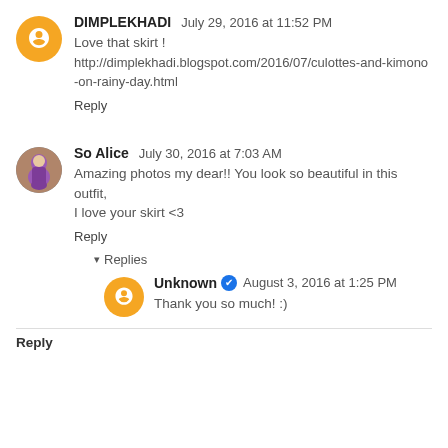DIMPLEKHADI  July 29, 2016 at 11:52 PM
Love that skirt !
http://dimplekhadi.blogspot.com/2016/07/culottes-and-kimono-on-rainy-day.html
Reply
So Alice  July 30, 2016 at 7:03 AM
Amazing photos my dear!! You look so beautiful in this outfit, I love your skirt <3
Reply
▾ Replies
Unknown ✔ August 3, 2016 at 1:25 PM
Thank you so much! :)
Reply